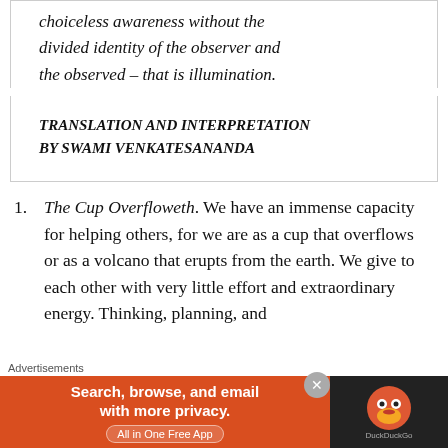choiceless awareness without the divided identity of the observer and the observed – that is illumination.
TRANSLATION AND INTERPRETATION BY SWAMI VENKATESANANDA
The Cup Overfloweth. We have an immense capacity for helping others, for we are as a cup that overflows or as a volcano that erupts from the earth. We give to each other with very little effort and extraordinary energy. Thinking, planning, and
[Figure (other): DuckDuckGo advertisement banner: orange left panel with text 'Search, browse, and email with more privacy. All in One Free App' and dark right panel with DuckDuckGo logo and duck icon.]